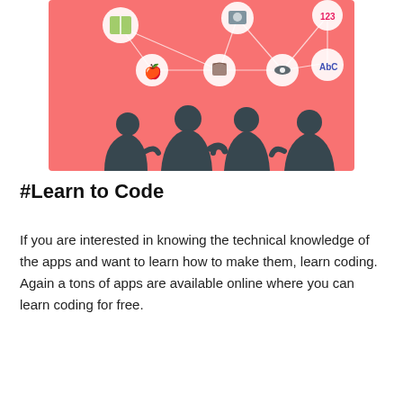[Figure (illustration): An illustration on a coral/salmon pink background showing silhouettes of four children/people using devices, with network icons (books, camera, apple, coffee, eye, ABC, 123) connected by lines above them.]
#Learn to Code
If you are interested in knowing the technical knowledge of the apps and want to learn how to make them, learn coding. Again a tons of apps are available online where you can learn coding for free.